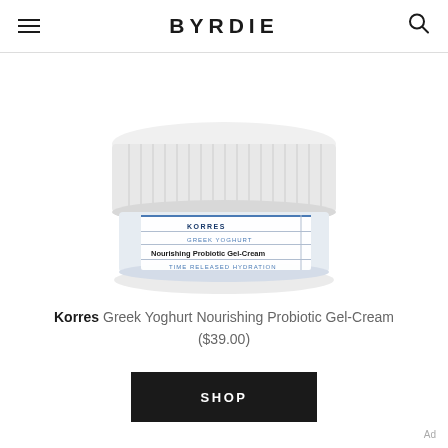BYRDIE
[Figure (photo): Korres Greek Yoghurt Nourishing Probiotic Gel-Cream jar with white ribbed lid and blue label on white background]
Korres Greek Yoghurt Nourishing Probiotic Gel-Cream ($39.00)
SHOP
Ad